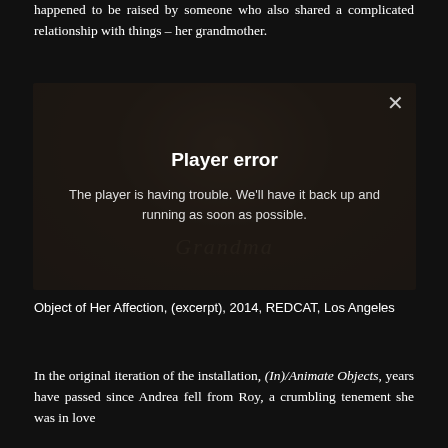happened to be raised by someone who also shared a complicated relationship with things – her grandmother.
[Figure (screenshot): Embedded video player showing a dark scene with hands and a doll-like figure, displaying a 'Player error' overlay message. The overlay reads 'Player error' in bold, followed by 'The player is having trouble. We'll have it back up and running as soon as possible.' A close (X) button is in the top-right corner. Behind the overlay, the word 'Grandma' appears in italic script.]
Object of Her Affection, (excerpt), 2014, REDCAT, Los Angeles
In the original iteration of the installation, (In)/Animate Objects, years have passed since Andrea fell from Roy, a crumbling tenement she was in love with, a new apartment, and her grandmother...